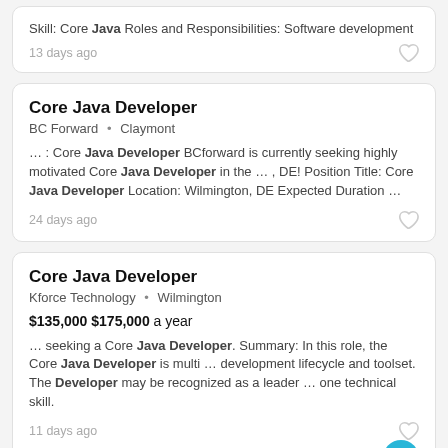Skill: Core Java Roles and Responsibilities: Software development
13 days ago
Core Java Developer
BC Forward • Claymont
... : Core Java Developer BCforward is currently seeking highly motivated Core Java Developer in the ... , DE! Position Title: Core Java Developer Location: Wilmington, DE Expected Duration ...
24 days ago
Core Java Developer
Kforce Technology • Wilmington
$135,000 $175,000 a year
... seeking a Core Java Developer. Summary: In this role, the Core Java Developer is multi ... development lifecycle and toolset. The Developer may be recognized as a leader ... one technical skill.
11 days ago